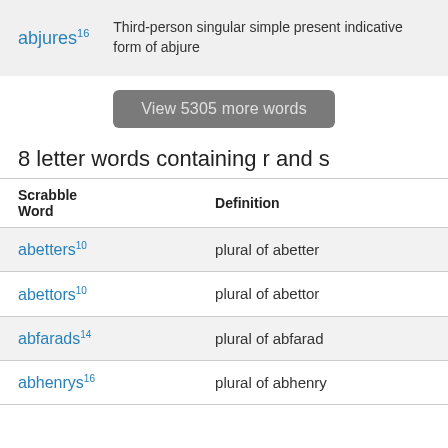| Scrabble Word | Definition |
| --- | --- |
| abjures16 | Third-person singular simple present indicative form of abjure |
View 5305 more words
8 letter words containing r and s
| Scrabble Word | Definition |
| --- | --- |
| abetters10 | plural of abetter |
| abettors10 | plural of abettor |
| abfarads14 | plural of abfarad |
| abhenrys16 | plural of abhenry |